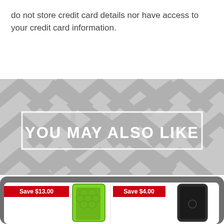do not store credit card details nor have access to your credit card information.
[Figure (infographic): YOU MAY ALSO LIKE banner on a grey chevron-pattern background with white bordered rectangle]
[Figure (infographic): Product card showing green honeycomb phone case with Save $13.00 badge]
[Figure (infographic): Product card showing dark iPhone back with Save $4.00 badge]